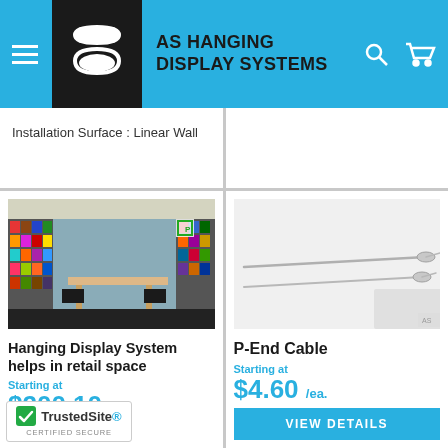AS HANGING DISPLAY SYSTEMS
Installation Surface : Linear Wall
[Figure (photo): Retail space showing colorful backpacks on shelving displays with a conference table in the center]
Hanging Display System helps in retail space
Starting at
$200.10
[Figure (photo): Two P-End cables (thin metal rods with pointed ends) on a light background]
P-End Cable
Starting at
$4.60 /ea.
VIEW DETAILS